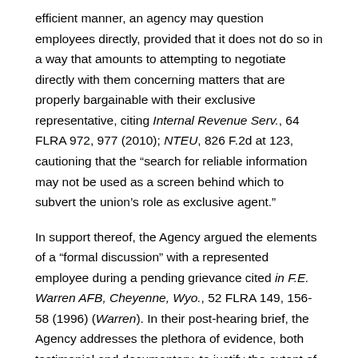efficient manner, an agency may question employees directly, provided that it does not do so in a way that amounts to attempting to negotiate directly with them concerning matters that are properly bargainable with their exclusive representative, citing Internal Revenue Serv., 64 FLRA 972, 977 (2010); NTEU, 826 F.2d at 123, cautioning that the "search for reliable information may not be used as a screen behind which to subvert the union's role as exclusive agent."
In support thereof, the Agency argued the elements of a "formal discussion" with a represented employee during a pending grievance cited in F.E. Warren AFB, Cheyenne, Wyo., 52 FLRA 149, 156-58 (1996) (Warren). In their post-hearing brief, the Agency addresses the plethora of evidence, both testimonial and documentary, to justify the extent of MSgt Person's communications with Ms. Lewis. The Warren decision requires the following elements of a finding to preclude a justifiable defense of communications to carry out